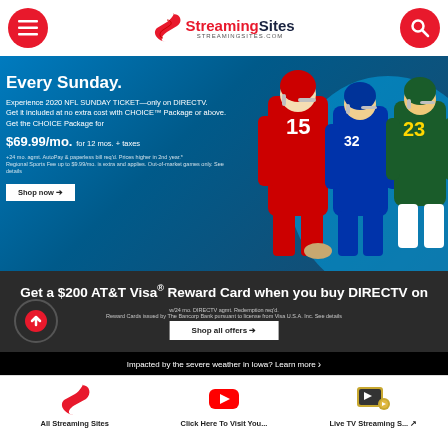[Figure (screenshot): StreamingSites.com website header with hamburger menu button (red circle), StreamingSites logo (S icon + text), and search button (red circle)]
[Figure (screenshot): DIRECTV advertisement banner: 'Every Sunday.' headline, NFL Sunday Ticket promo, $69.99/mo price, Shop now button, football players imagery]
[Figure (screenshot): AT&T dark banner: 'Get a $200 AT&T Visa Reward Card when you buy DIRECTV on' headline, Shop all offers button, up-arrow circle, fine print, weather alert bar]
Fubo TV
[Figure (screenshot): Bottom navigation bar with: All Streaming Sites (red S logo), Click Here To Visit You... (YouTube red icon), Live TV Streaming S... (TV with play icon)]